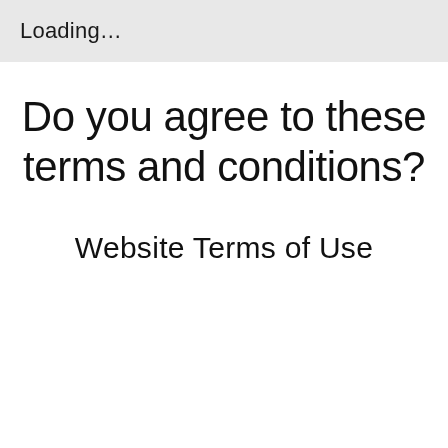Loading…
Do you agree to these terms and conditions?
Website Terms of Use